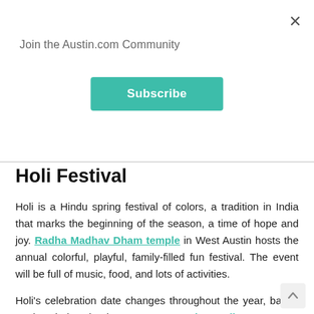Join the Austin.com Community
Subscribe
Holi Festival
Holi is a Hindu spring festival of colors, a tradition in India that marks the beginning of the season, a time of hope and joy. Radha Madhav Dham temple in West Austin hosts the annual colorful, playful, family-filled fun festival. The event will be full of music, food, and lots of activities.
Holi's celebration date changes throughout the year, based on the Hindu calendar. For 2020, Austin's Holi Festival will be held the weekend of March 9 and